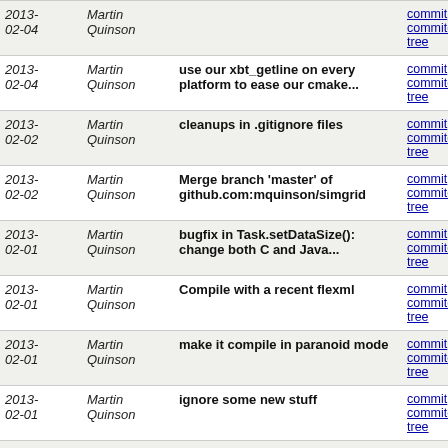| Date | Author | Message | Links |
| --- | --- | --- | --- |
| 2013-02-04 | Martin Quinson |  | commit | commitdiff | tree |
| 2013-02-04 | Martin Quinson | use our xbt_getline on every platform to ease our cmake... | commit | commitdiff | tree |
| 2013-02-02 | Martin Quinson | cleanups in .gitignore files | commit | commitdiff | tree |
| 2013-02-02 | Martin Quinson | Merge branch 'master' of github.com:mquinson/simgrid | commit | commitdiff | tree |
| 2013-02-01 | Martin Quinson | bugfix in Task.setDataSize(): change both C and Java... | commit | commitdiff | tree |
| 2013-02-01 | Martin Quinson | Compile with a recent flexml | commit | commitdiff | tree |
| 2013-02-01 | Martin Quinson | make it compile in paranoid mode | commit | commitdiff | tree |
| 2013-02-01 | Martin Quinson | ignore some new stuff | commit | commitdiff | tree |
| 2013-01-31 | Martin Quinson | ignore some new stuff | commit | commitdiff | tree |
| 2013-01-30 | Martin Quinson | more verbose message | commit | commitdiff | tree |
| 2013-01-29 | Martin Quinson | Merge branch 'v3_9_x' of scm.gforge.inria.fr:/gitroot... | commit | commitdiff | tree |
| 2013-01-29 | Martin Quinson | bunch of files missing from the archive, breaking the... | commit | commitdiff | tree |
| 2013-01-29 | Martin Quinson | Actually, we run tests to see the problems when they... | commit | commitdiff | tree |
| 2013-01-29 | Martin Quinson | read the 'how to release' page | commit | commitdiff | tree |